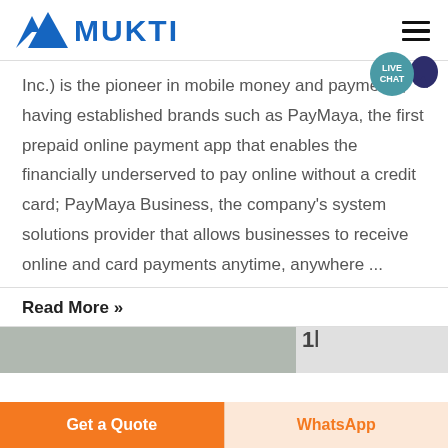[Figure (logo): Mukti logo with blue triangle/mountain icon and blue bold text MUKTI]
Inc.) is the pioneer in mobile money and payments, having established brands such as PayMaya, the first prepaid online payment app that enables the financially underserved to pay online without a credit card; PayMaya Business, the company's system solutions provider that allows businesses to receive online and card payments anytime, anywhere ...
Read More »
[Figure (photo): Partial bottom strip showing a photo on the left and what appears to be a page number '11' on the right]
Get a Quote
WhatsApp